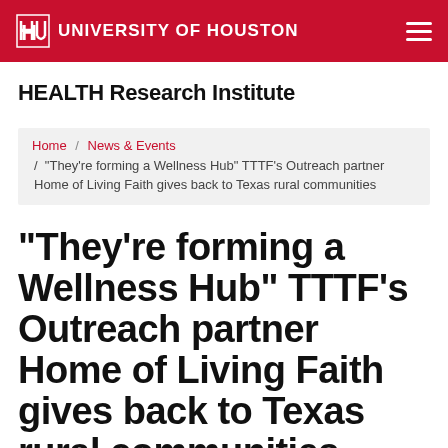UNIVERSITY OF HOUSTON
HEALTH Research Institute
Home / News & Events / "They're forming a Wellness Hub" TTTF's Outreach partner Home of Living Faith gives back to Texas rural communities
"They're forming a Wellness Hub" TTTF's Outreach partner Home of Living Faith gives back to Texas rural communities